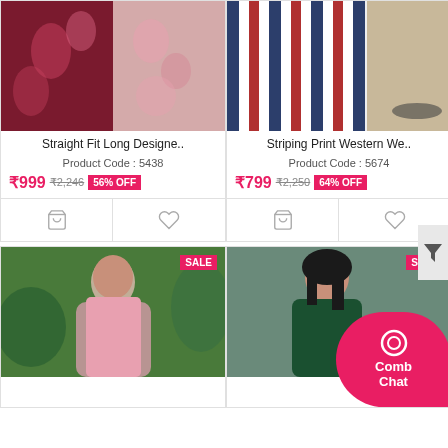[Figure (photo): Straight Fit Long Designer product photo - floral outfit]
Straight Fit Long Designe..
Product Code : 5438
₹999  ₹2,246  56% OFF
[Figure (photo): Striping Print Western Wear product photo - striped skirt]
Striping Print Western We..
Product Code : 5674
₹799  ₹2,250  64% OFF
[Figure (photo): Pink salwar suit product photo with SALE badge]
[Figure (photo): Green dress product photo with SALE badge]